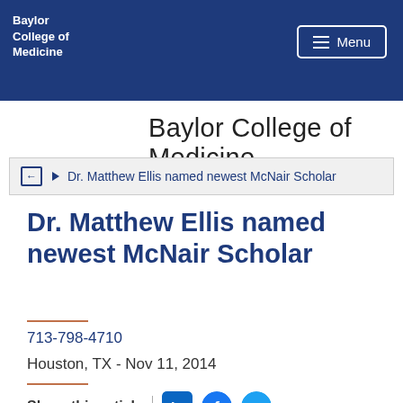Baylor College of Medicine
Baylor College of Medicine
Dr. Matthew Ellis named newest McNair Scholar
Dr. Matthew Ellis named newest McNair Scholar
713-798-4710
Houston, TX - Nov 11, 2014
Share this article